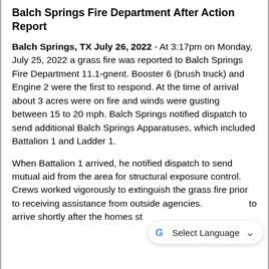Balch Springs Fire Department After Action Report
Balch Springs, TX July 26, 2022 - At 3:17pm on Monday, July 25, 2022 a grass fire was reported to Balch Springs Fire Department 11.1-gnent. Booster 6 (brush truck) and Engine 2 were the first to respond. At the time of arrival about 3 acres were on fire and winds were gusting between 15 to 20 mph. Balch Springs notified dispatch to send additional Balch Springs Apparatuses, which included Battalion 1 and Ladder 1.
When Battalion 1 arrived, he notified dispatch to send mutual aid from the area for structural exposure control. Crews worked vigorously to extinguish the grass fire prior to receiving assistance from outside agencies. [text partially obscured] to arrive shortly after the homes st[text obscured]